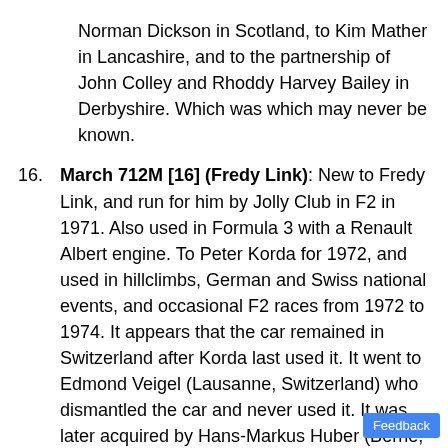Norman Dickson in Scotland, to Kim Mather in Lancashire, and to the partnership of John Colley and Rhoddy Harvey Bailey in Derbyshire. Which was which may never be known.
16. March 712M [16] (Fredy Link): New to Fredy Link, and run for him by Jolly Club in F2 in 1971. Also used in Formula 3 with a Renault Albert engine. To Peter Korda for 1972, and used in hillclimbs, German and Swiss national events, and occasional F2 races from 1972 to 1974. It appears that the car remained in Switzerland after Korda last used it. It went to Edmond Veigel (Lausanne, Switzerland) who dismantled the car and never used it. It was later acquired by Hans-Markus Huber (Berne, Switzerland), restored by him between 1989 and 1991, fitted with a BDA engine, and raced it in the European Historic